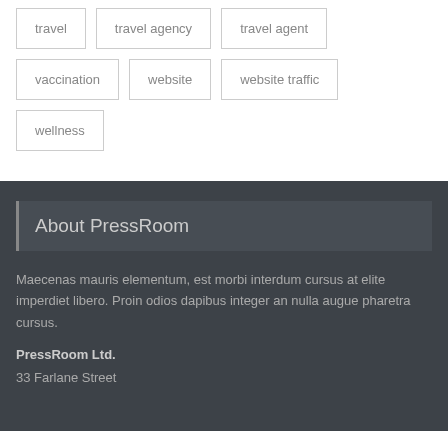travel
travel agency
travel agent
vaccination
website
website traffic
wellness
About PressRoom
Maecenas mauris elementum, est morbi interdum cursus at elite imperdiet libero. Proin odios dapibus integer an nulla augue pharetra cursus.
PressRoom Ltd.
33 Farlane Street